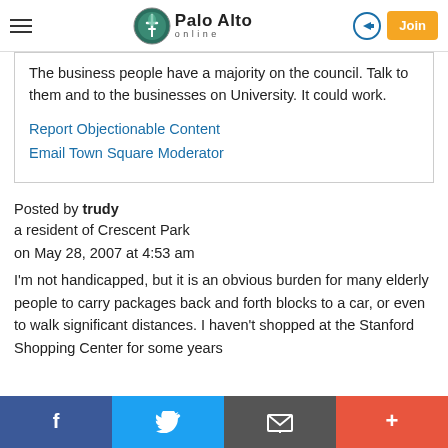Palo Alto online
The business people have a majority on the council. Talk to them and to the businesses on University. It could work.
Report Objectionable Content
Email Town Square Moderator
Posted by trudy
a resident of Crescent Park
on May 28, 2007 at 4:53 am
I'm not handicapped, but it is an obvious burden for many elderly people to carry packages back and forth blocks to a car, or even to walk significant distances. I haven't shopped at the Stanford Shopping Center for some years
f  Twitter  Email  +